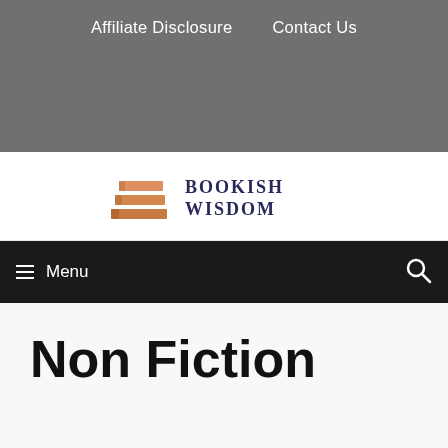Affiliate Disclosure    Contact Us
[Figure (logo): Bookish Wisdom logo with orange stacked books icon and dark blue serif text 'BOOKISH WISDOM']
≡ Menu
Non Fiction